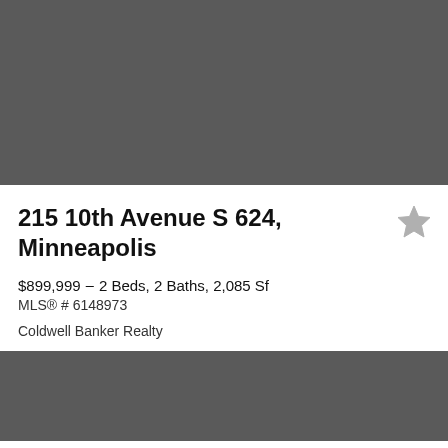[Figure (photo): Property photo placeholder – dark gray rectangle at top]
215 10th Avenue S 624, Minneapolis
$899,999 - 2 Beds, 2 Baths, 2,085 Sf
MLS® # 6148973
Coldwell Banker Realty
[Figure (photo): Property photo placeholder – dark gray rectangle at bottom]